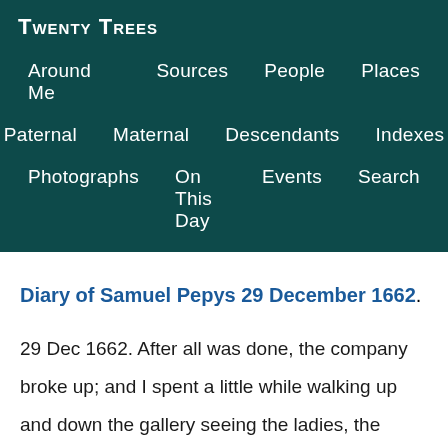Twenty Trees
Around Me  Sources  People  Places
Paternal  Maternal  Descendants  Indexes
Photographs  On This Day  Events  Search
Diary of Samuel Pepys 29 December 1662.
29 Dec 1662. After all was done, the company broke up; and I spent a little while walking up and down the gallery seeing the ladies, the